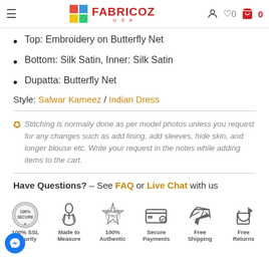FABRICOZ USA — Navigation header with logo, hamburger menu, account icon, wishlist (0), cart (0)
Top: Embroidery on Butterfly Net
Bottom: Silk Satin, Inner: Silk Satin
Dupatta: Butterfly Net
Style: Salwar Kameez / Indian Dress
✪ Stitching is normally done as per model photos unless you request for any changes such as add lining, add sleeves, hide skin, and longer blouse etc. Write your request in the notes while adding items to the cart.
Have Questions? – See FAQ or Live Chat with us
[Figure (infographic): Six trust badges: 100% SSL Security, Made to Measure, 100% Authentic, Secure Payments, Free Shipping, Free Returns]